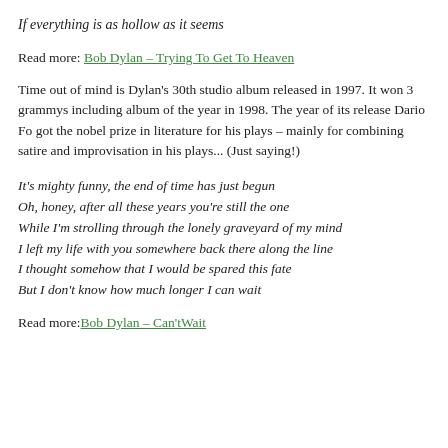If everything is as hollow as it seems
Read more: Bob Dylan – Trying To Get To Heaven
Time out of mind is Dylan's 30th studio album released in 1997. It won 3 grammys including album of the year in 1998. The year of its release Dario Fo got the nobel prize in literature for his plays – mainly for combining satire and improvisation in his plays... (Just saying!)
It's mighty funny, the end of time has just begun
Oh, honey, after all these years you're still the one
While I'm strolling through the lonely graveyard of my mind
I left my life with you somewhere back there along the line
I thought somehow that I would be spared this fate
But I don't know how much longer I can wait
Read more: Bob Dylan – Can'tWait